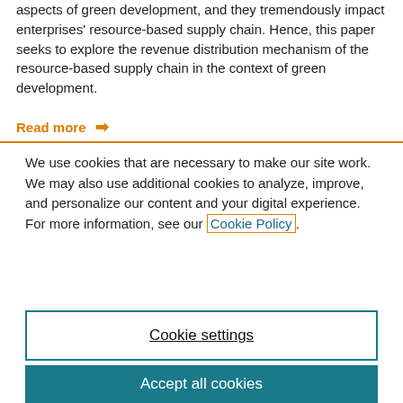aspects of green development, and they tremendously impact enterprises' resource-based supply chain. Hence, this paper seeks to explore the revenue distribution mechanism of the resource-based supply chain in the context of green development.
Read more →
We use cookies that are necessary to make our site work. We may also use additional cookies to analyze, improve, and personalize our content and your digital experience. For more information, see our Cookie Policy.
Cookie settings
Accept all cookies